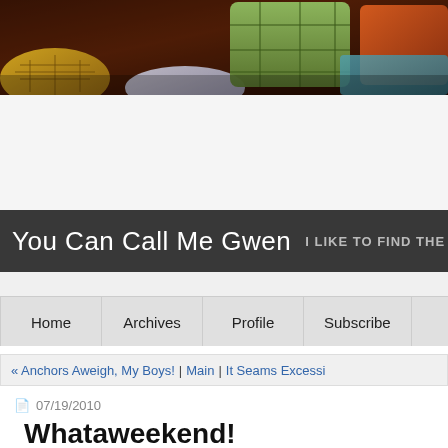[Figure (photo): Blog header banner photo showing colorful decorative pillows and fabric in warm brown, orange, and teal tones]
You Can Call Me Gwen  I LIKE TO FIND THE PR
[Figure (screenshot): Navigation bar with items: Home, Archives, Profile, Subscribe]
« Anchors Aweigh, My Boys! | Main | It Seams Excessi
07/19/2010
Whataweekend!